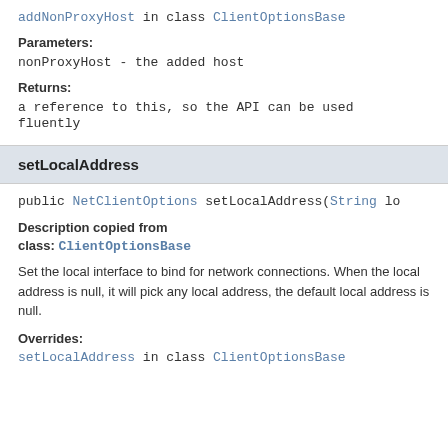addNonProxyHost in class ClientOptionsBase
Parameters:
nonProxyHost - the added host
Returns:
a reference to this, so the API can be used fluently
setLocalAddress
public NetClientOptions setLocalAddress(String lo
Description copied from class: ClientOptionsBase
Set the local interface to bind for network connections. When the local address is null, it will pick any local address, the default local address is null.
Overrides:
setLocalAddress in class ClientOptionsBase